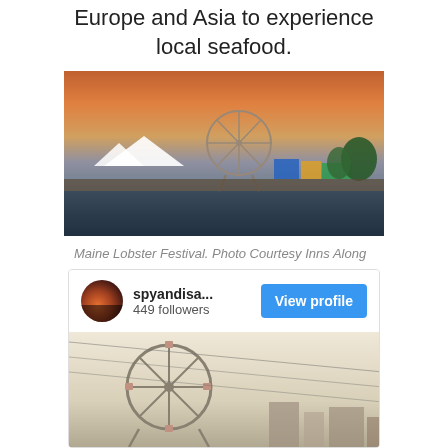Europe and Asia to experience local seafood.
[Figure (photo): Maine Lobster Festival at waterfront with Ferris wheel against a vivid orange and pink sunset sky, with white tents and colorful booths visible along the waterfront]
Maine Lobster Festival. Photo Courtesy Inns Along The Coast
[Figure (screenshot): Instagram profile card for user 'spyandisa...' with 449 followers, showing a 'View profile' button and a partial photo of a Ferris wheel against a light sky]